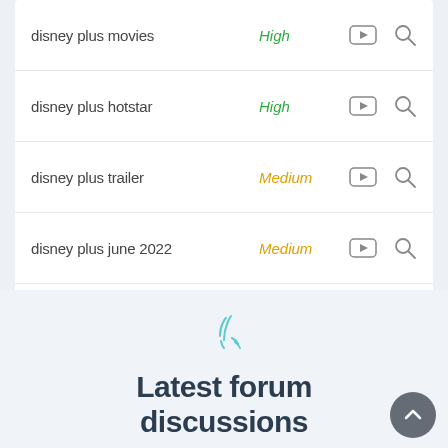| Keyword | Competition |  |  |
| --- | --- | --- | --- |
| disney plus movies | High | yt-icon | search-icon |
| disney plus hotstar | High | yt-icon | search-icon |
| disney plus trailer | Medium | yt-icon | search-icon |
| disney plus june 2022 | Medium | yt-icon | search-icon |
| disney plus july 2022 | Low | yt-icon | search-icon |
[Figure (illustration): Speech/discussion icon in teal outline style]
Latest forum discussions